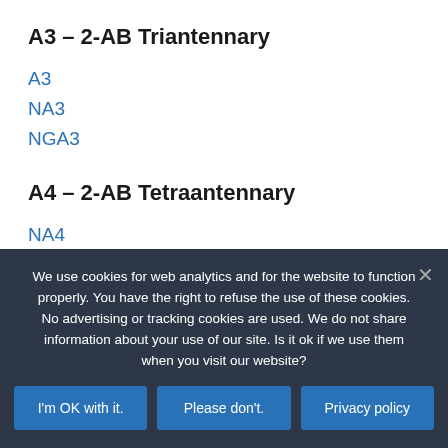A3 – 2-AB Triantennary
A3
NA3
NGA3
A4 – 2-AB Tetraantennary
NA4
NGA4
High Mannose
We use cookies for web analytics and for the website to function properly. You have the right to refuse the use of these cookies. No advertising or tracking cookies are used. We do not share information about your use of our site. Is it ok if we use them when you visit our website?